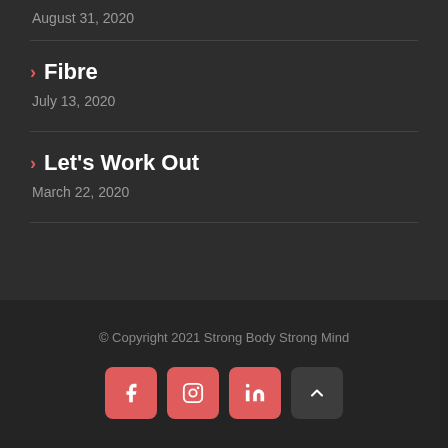August 31, 2020
Fibre — July 13, 2020
Let's Work Out — March 22, 2020
© Copyright 2021 Strong Body Strong Mind